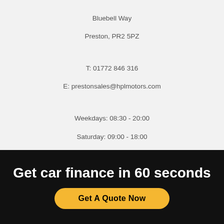Bluebell Way
Preston, PR2 5PZ
T: 01772 846 316
E: prestonsales@hplmotors.com
Weekdays: 08:30 - 20:00
Saturday: 09:00 - 18:00
Sunday: 11:00 - 17:00
OLDHAM BRANCH
396 Manchester Road,
Oldham, OL9 7PQ
T: 0161 620 8773
E: sales@hplmotors.com
Get car finance in 60 seconds
Get A Quote Now